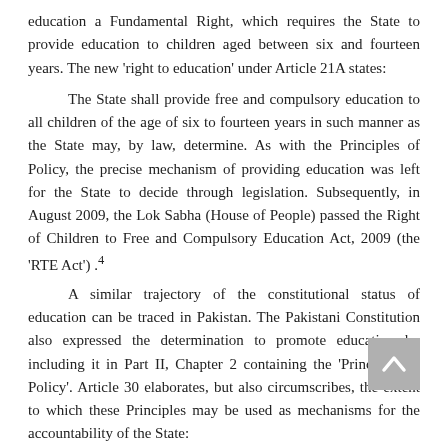education a Fundamental Right, which requires the State to provide education to children aged between six and fourteen years. The new 'right to education' under Article 21A states:
The State shall provide free and compulsory education to all children of the age of six to fourteen years in such manner as the State may, by law, determine. As with the Principles of Policy, the precise mechanism of providing education was left for the State to decide through legislation. Subsequently, in August 2009, the Lok Sabha (House of People) passed the Right of Children to Free and Compulsory Education Act, 2009 (the 'RTE Act') .4
A similar trajectory of the constitutional status of education can be traced in Pakistan. The Pakistani Constitution also expressed the determination to promote education by including it in Part II, Chapter 2 containing the 'Principles of Policy'. Article 30 elaborates, but also circumscribes, the extent to which these Principles may be used as mechanisms for the accountability of the State:
(1) The responsibility of deciding whether any action of [an or authority of the State, or of a person performing functions on behalf of